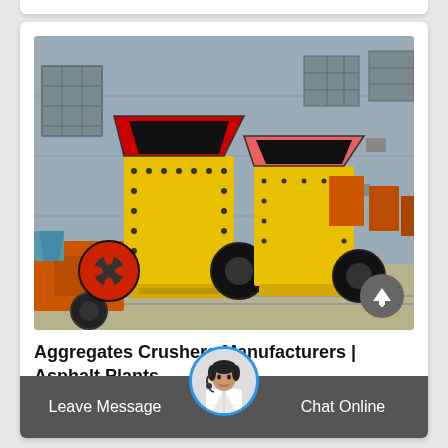[Figure (photo): Industrial aggregate crusher machines in yellow and orange parked outside a gray factory building. Large yellow impact crushers with red flywheels in the foreground, smaller orange jaw crushers to the sides.]
Aggregates Crushers Manufacturers | Asphalt Plants
Leave Message   Chat Online